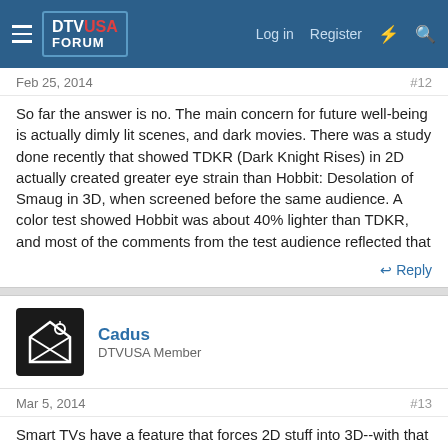DTV USA FORUM — Log in   Register
Feb 25, 2014   #12
So far the answer is no. The main concern for future well-being is actually dimly lit scenes, and dark movies. There was a study done recently that showed TDKR (Dark Knight Rises) in 2D actually created greater eye strain than Hobbit: Desolation of Smaug in 3D, when screened before the same audience. A color test showed Hobbit was about 40% lighter than TDKR, and most of the comments from the test audience reflected that
↩ Reply
[Figure (illustration): Avatar icon for user Cadus — black square with a stylized arrow/target graphic]
Cadus
DTVUSA Member
Mar 5, 2014   #13
Smart TVs have a feature that forces 2D stuff into 3D--with that you're a lot more likely to get nauseous than with stuff that was intended to be 3D. Personally, I don't think I fit into that 10-15%